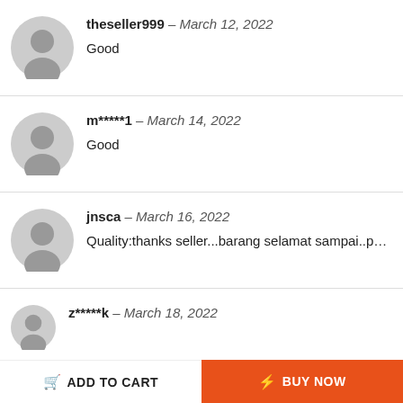theseller999 – March 12, 2022
Good
m*****1 – March 14, 2022
Good
jnsca – March 16, 2022
Quality:thanks seller...barang selamat sampai..penghanta
z*****k – March 18, 2022